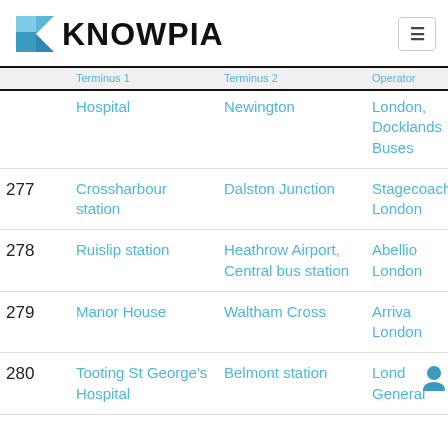KNOWPIA
|  | Terminus 1 | Terminus 2 | Operator |
| --- | --- | --- | --- |
| 275 (partial) | Hospital | Newington | London, Docklands Buses |
| 277 | Crossharbour station | Dalston Junction | Stagecoach London |
| 278 | Ruislip station | Heathrow Airport, Central bus station | Abellio London |
| 279 | Manor House | Waltham Cross | Arriva London |
| 280 | Tooting St George's Hospital (partial) | Belmont station | London General (partial) |